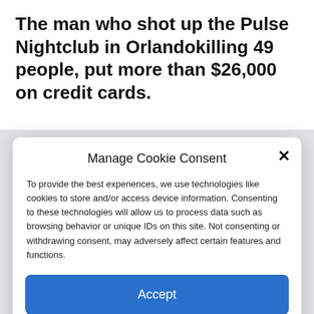The man who shot up the Pulse Nightclub in Orlandokilling 49 people, put more than $26,000 on credit cards.
Manage Cookie Consent
To provide the best experiences, we use technologies like cookies to store and/or access device information. Consenting to these technologies will allow us to process data such as browsing behavior or unique IDs on this site. Not consenting or withdrawing consent, may adversely affect certain features and functions.
Accept
Deny
View preferences